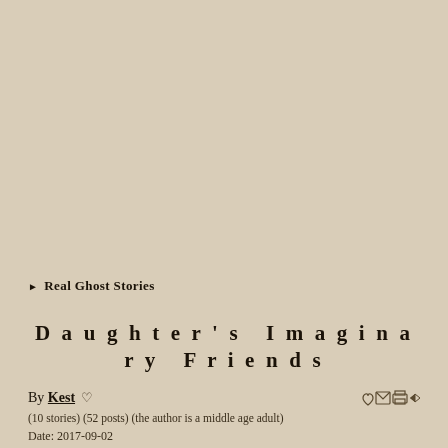▶ Real Ghost Stories
Daughter's Imaginary Friends
By Kest ♡
(10 stories) (52 posts) (the author is a middle age adult)
Date: 2017-09-02
Country: United States